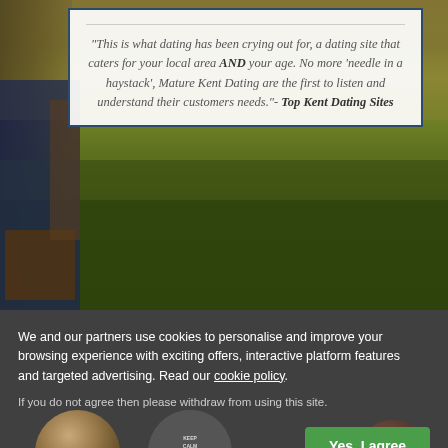[Figure (photo): Outdoor photo showing grass field with a person's legs/feet visible on the left side, wearing jeans and boots, kneeling on grass]
"This is what dating has been crying out for, a dating site that caters for your local area AND your age. No more 'needle in a haystack', Mature Kent Dating are the first to listen and understand their customers needs."- Top Kent Dating Sites
We and our partners use cookies to personalise and improve your browsing experience with exciting offers, interactive platform features and targeted advertising. Read our cookie policy.
If you do not agree then please withdraw from using this site.